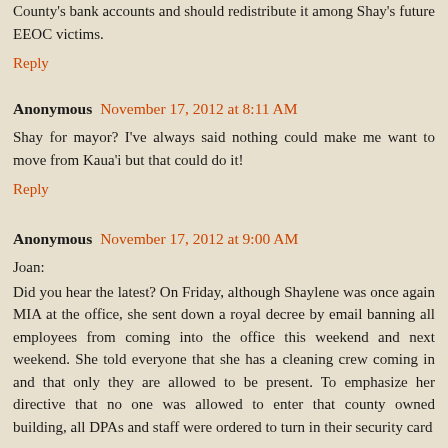County's bank accounts and should redistribute it among Shay's future EEOC victims.
Reply
Anonymous November 17, 2012 at 8:11 AM
Shay for mayor? I've always said nothing could make me want to move from Kaua'i but that could do it!
Reply
Anonymous November 17, 2012 at 9:00 AM
Joan:
Did you hear the latest? On Friday, although Shaylene was once again MIA at the office, she sent down a royal decree by email banning all employees from coming into the office this weekend and next weekend. She told everyone that she has a cleaning crew coming in and that only they are allowed to be present. To emphasize her directive that no one was allowed to enter that county owned building, all DPAs and staff were ordered to turn in their security card